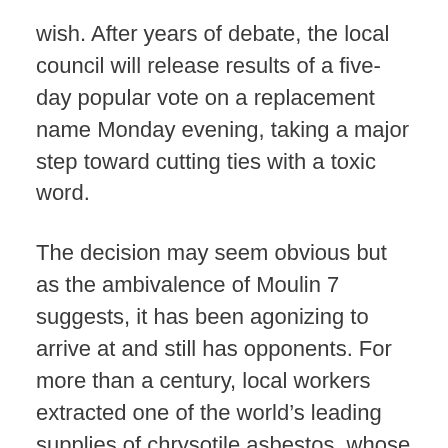wish. After years of debate, the local council will release results of a five-day popular vote on a replacement name Monday evening, taking a major step toward cutting ties with a toxic word.
The decision may seem obvious but as the ambivalence of Moulin 7 suggests, it has been agonizing to arrive at and still has opponents. For more than a century, local workers extracted one of the world’s leading supplies of chrysotile asbestos, whose cottony fibres were widely used in insulation and fireproofing, until it became clear they cause cancer. The deadly material was also the town’s life source and bound up with its identity.
Sitting on a chair repurposed from one of the mine offices in his sprawling brewpub, Mr. St